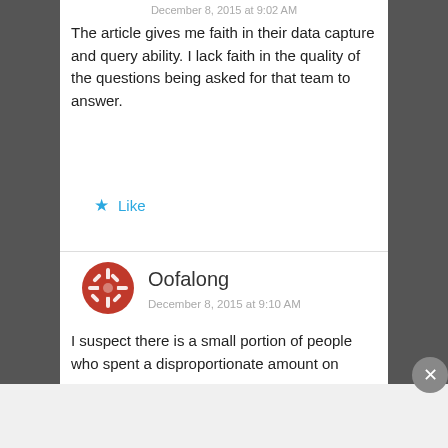December 8, 2015 at 9:02 AM
The article gives me faith in their data capture and query ability. I lack faith in the quality of the questions being asked for that team to answer.
Like
Oofalong
December 8, 2015 at 9:10 AM
I suspect there is a small portion of people who spent a disproportionate amount on
Advertisements
[Figure (screenshot): DuckDuckGo advertisement banner: Search, browse, and email with more privacy. All in One Free App. DuckDuckGo logo on dark background.]